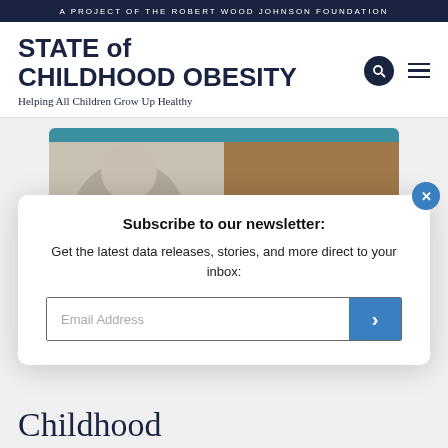A PROJECT OF THE ROBERT WOOD JOHNSON FOUNDATION
STATE of CHILDHOOD OBESITY
Helping All Children Grow Up Healthy
[Figure (screenshot): Partial view of a webpage card with a teal header bar and two images side by side (a person on the left and a wood-texture background on the right)]
Subscribe to our newsletter:
Get the latest data releases, stories, and more direct to your inbox:
Email Address
Childhood